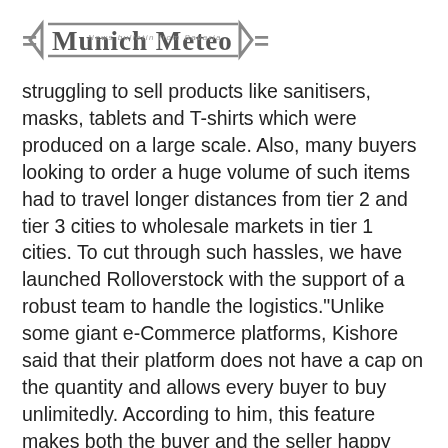Munich Meteo — News bulletin from Bavaria
struggling to sell products like sanitisers, masks, tablets and T-shirts which were produced on a large scale. Also, many buyers looking to order a huge volume of such items had to travel longer distances from tier 2 and tier 3 cities to wholesale markets in tier 1 cities. To cut through such hassles, we have launched Rolloverstock with the support of a robust team to handle the logistics."Unlike some giant e-Commerce platforms, Kishore said that their platform does not have a cap on the quantity and allows every buyer to buy unlimitedly. According to him, this feature makes both the buyer and the seller happy customers of Rolloverstock, which is one of the 17 products acquired by FSS during the pandemic.
It is to be noted that 3,000 products from the